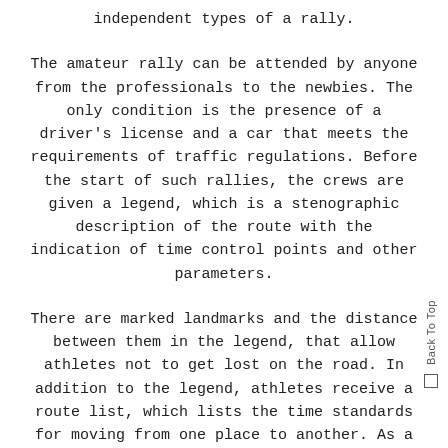independent types of a rally.
The amateur rally can be attended by anyone from the professionals to the newbies. The only condition is the presence of a driver's license and a car that meets the requirements of traffic regulations. Before the start of such rallies, the crews are given a legend, which is a stenographic description of the route with the indication of time control points and other parameters.
There are marked landmarks and the distance between them in the legend, that allow athletes not to get lost on the road. In addition to the legend, athletes receive a route list, which lists the time standards for moving from one place to another. As a rule, the whole route is divided into several segments, which begin and end in the primarily defined locations.
What Is the Purpose of the Motor